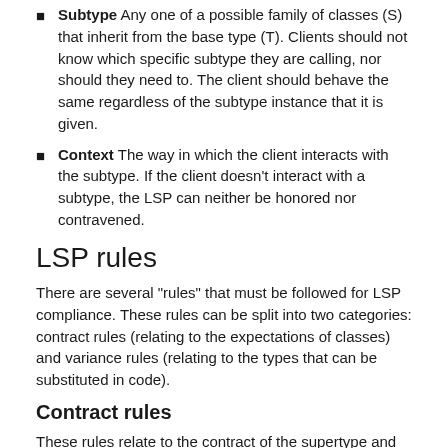Subtype Any one of a possible family of classes (S) that inherit from the base type (T). Clients should not know which specific subtype they are calling, nor should they need to. The client should behave the same regardless of the subtype instance that it is given.
Context The way in which the client interacts with the subtype. If the client doesn't interact with a subtype, the LSP can neither be honored nor contravened.
LSP rules
There are several "rules" that must be followed for LSP compliance. These rules can be split into two categories: contract rules (relating to the expectations of classes) and variance rules (relating to the types that can be substituted in code).
Contract rules
These rules relate to the contract of the supertype and the restrictions placed on the contracts that can be added to the subtype.
Preconditions cannot be strengthened in a subtype.
Postconditions cannot be weakened in a subtype.
Invariants—conditions that must remain true—of the supertype must be preserved in a subtype.
To understand the contract rules, you should first understand the concept of contracts and then explore what you can do to ensure that